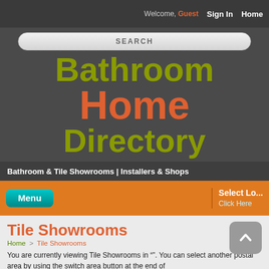Welcome, Guest  Sign In  Home
[Figure (screenshot): Search bar with rounded corners and SEARCH label]
Bathroom Home Directory
Bathroom & Tile Showrooms | Installers & Shops
Menu  Select Lo... Click Here
Tile Showrooms
Home > Tile Showrooms
You are currently viewing Tile Showrooms in "". You can select another postal area by using the switch area button at the end of